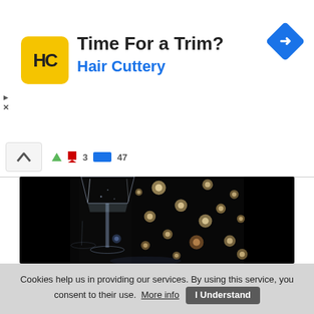[Figure (logo): Hair Cuttery advertisement banner with yellow HC logo, text 'Time For a Trim?' and 'Hair Cuttery' in blue, and a blue navigation/directions diamond icon on the right]
[Figure (screenshot): Browser toolbar strip with chevron up button and small icons]
[Figure (photo): Dark background photo showing champagne/wine glasses with bokeh light effects scattered across black background]
Cookies help us in providing our services. By using this service, you consent to their use. More info
I Understand